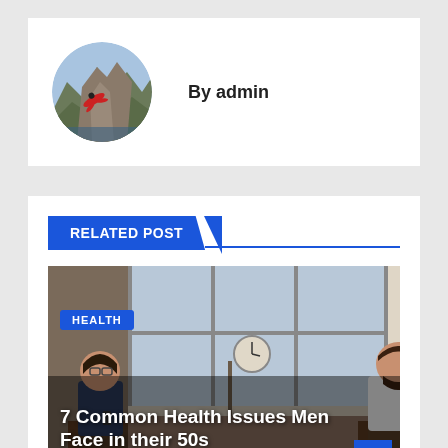[Figure (photo): Circular avatar image showing an aerial/mountain landscape with a wingsuit flyer and rocky cliffs]
By admin
RELATED POST
[Figure (photo): Two people sitting in chairs having a conversation near large windows, with a clock on a shelf behind them. One person is a woman with glasses holding a phone, the other is a bearded man with hand raised.]
HEALTH
7 Common Health Issues Men Face in their 50s
AUG 23, 2022   ANDY